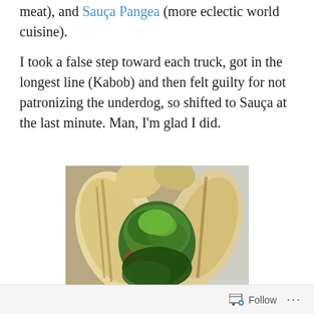meat), and Sauça Pangea (more eclectic world cuisine).
I took a false step toward each truck, got in the longest line (Kabob) and then felt guilty for not patronizing the underdog, so shifted to Sauça at the last minute. Man, I'm glad I did.
[Figure (photo): Close-up photo of an open flatbread/pita sandwich filled with green herbs, diced tomatoes, and greens, wrapped in foil, viewed from above.]
Follow ...